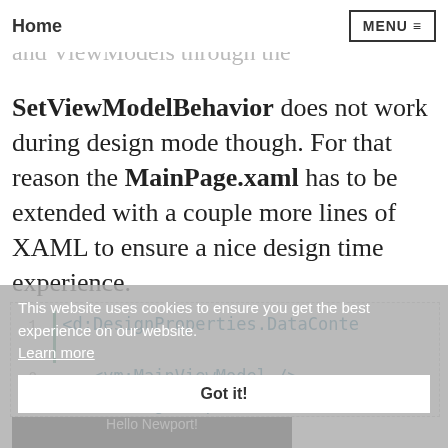Home   MENU
the connection between Pages and ViewModels through the SetViewModelBehavior does not work during design mode though. For that reason the MainPage.xaml has to be extended with a couple more lines of XAML to ensure a nice design time experience.
This website uses cookies to ensure you get the best experience on our website. Learn more
[Figure (screenshot): Code block showing XAML with d:DesignProperties.DataContext containing vm:MainViewModel />, partially visible, with line numbers 1, 2, 3 and a teal vertical bar]
Got it!
[Figure (screenshot): Mobile phone screenshot showing Hello Newport! screen]